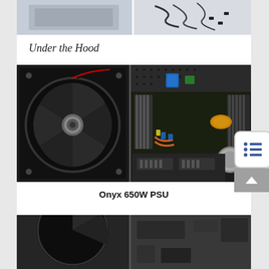[Figure (photo): Two side-by-side photos at the top of the page: left shows a PSU component on a light gray background, right shows black cables/connectors on a light background]
Under the Hood
[Figure (photo): Interior photo of Onyx 650W PSU opened up, showing the large black cooling fan on the left side and the circuit board components (capacitors, inductors, heatsinks, transformers) on the right side]
Onyx 650W PSU
[Figure (photo): Bottom photo partially visible showing another PSU interior view, split into two panels]